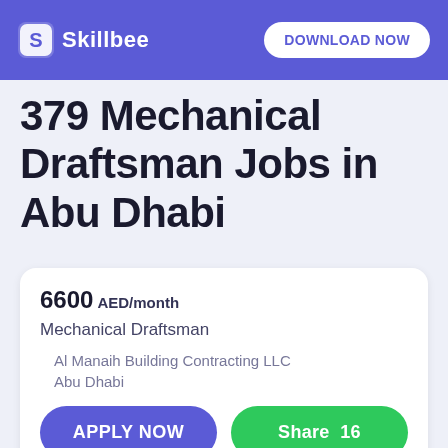Skillbee — DOWNLOAD NOW
379 Mechanical Draftsman Jobs in Abu Dhabi
6600 AED/month
Mechanical Draftsman
Al Manaih Building Contracting LLC
Abu Dhabi
APPLY NOW
Share  16